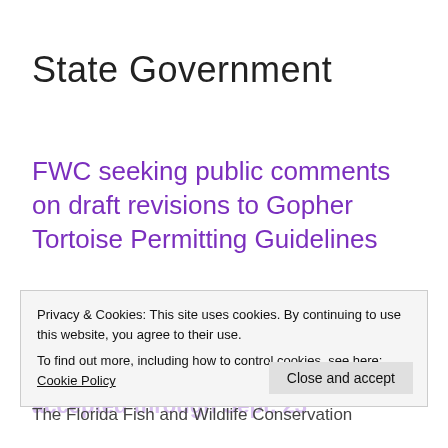State Government
FWC seeking public comments on draft revisions to Gopher Tortoise Permitting Guidelines
August 25, 2022 by Staff Reports
Privacy & Cookies: This site uses cookies. By continuing to use this website, you agree to their use. To find out more, including how to control cookies, see here: Cookie Policy
Webinars scheduled for Sept. 7 and Sept. 14, with written comments accepted through Sept. 23
The Florida Fish and Wildlife Conservation